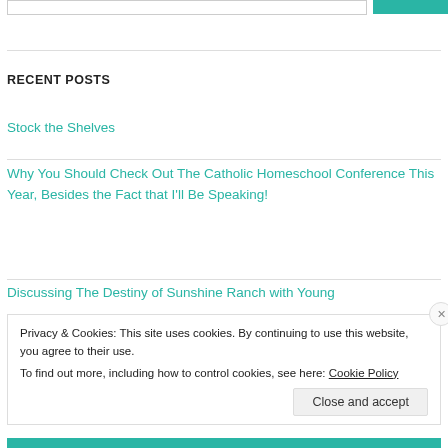RECENT POSTS
Stock the Shelves
Why You Should Check Out The Catholic Homeschool Conference This Year, Besides the Fact that I'll Be Speaking!
Discussing The Destiny of Sunshine Ranch with Young
Privacy & Cookies: This site uses cookies. By continuing to use this website, you agree to their use.
To find out more, including how to control cookies, see here: Cookie Policy
Close and accept